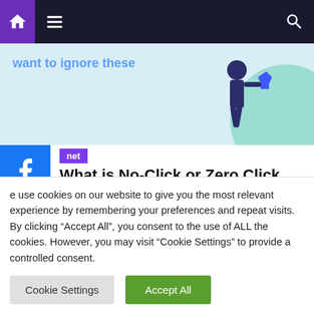Navigation bar with home, menu, and search icons
[Figure (screenshot): Hero image area with text 'want to ignore these' in blue, illustration of person walking with trophies on light blue background]
net
What is No-Click or Zero Click Search? Examples
March 12, 2022   Admin
Zero-click or No-click search query result display isn't a new feature in the google search engine, but content marketers
We use cookies on our website to give you the most relevant experience by remembering your preferences and repeat visits. By clicking "Accept All", you consent to the use of ALL the cookies. However, you may visit "Cookie Settings" to provide a controlled consent.
Cookie Settings   Accept All